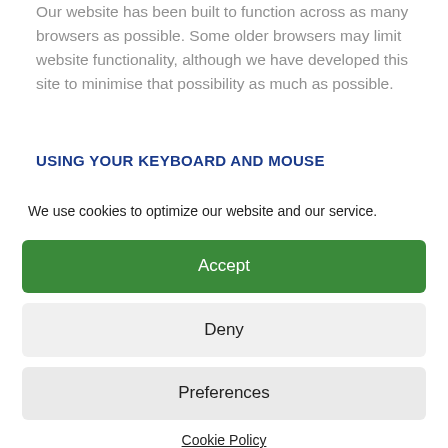Our website has been built to function across as many browsers as possible. Some older browsers may limit website functionality, although we have developed this site to minimise that possibility as much as possible.
USING YOUR KEYBOARD AND MOUSE
We use cookies to optimize our website and our service.
Accept
Deny
Preferences
Cookie Policy